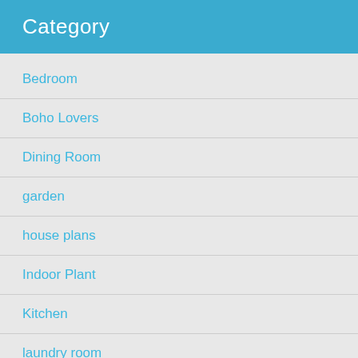Category
Bedroom
Boho Lovers
Dining Room
garden
house plans
Indoor Plant
Kitchen
laundry room
living room
Patio
Small Garden